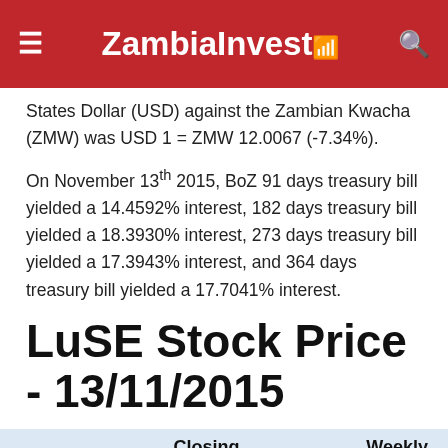ZambiaInvest
States Dollar (USD) against the Zambian Kwacha (ZMW) was USD 1 = ZMW 12.0067 (-7.34%).
On November 13th 2015, BoZ 91 days treasury bill yielded a 14.4592% interest, 182 days treasury bill yielded a 18.3930% interest, 273 days treasury bill yielded a 17.3943% interest, and 364 days treasury bill yielded a 17.7041% interest.
LuSE Stock Price - 13/11/2015
|  | Closing Trade | Weekly Net |
| --- | --- | --- |